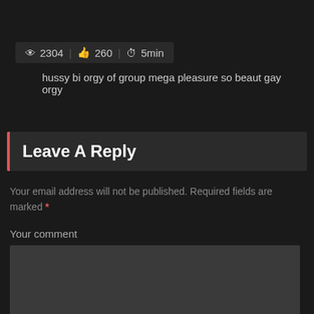👁 2304 | 👍 260 | ⏱ 5min
hussy bi orgy of group mega pleasure so beaut gay orgy
Leave A Reply
Your email address will not be published. Required fields are marked *
Your comment